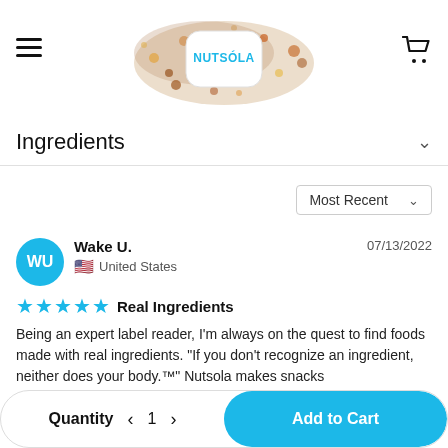[Figure (logo): Nutsola brand logo with nuts and seeds scattered around a white square badge with 'NUTSÓLA' in blue text]
Ingredients
Most Recent
Wake U.    United States    07/13/2022
★★★★★  Real Ingredients
Being an expert label reader, I'm always on the quest to find foods made with real ingredients. "If you don't recognize an ingredient, neither does your body.™" Nutsola makes snacks
Quantity  ‹  1  ›    Add to Cart